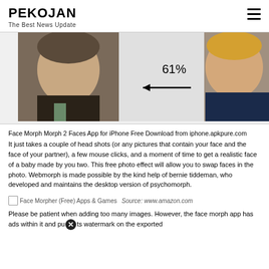PEKOJAN
The Best News Update
[Figure (photo): Side-by-side face comparison of two men with a 61% label and arrow pointing left between them, against a light gray background.]
Face Morph Morph 2 Faces App for iPhone Free Download from iphone.apkpure.com
It just takes a couple of head shots (or any pictures that contain your face and the face of your partner), a few mouse clicks, and a moment of time to get a realistic face of a baby made by you two. This free photo effect will allow you to swap faces in the photo. Webmorph is made possible by the kind help of bernie tiddeman, who developed and maintains the desktop version of psychomorph.
[Figure (screenshot): Broken image placeholder for Face Morpher (Free) Apps & Games with source annotation: www.amazon.com]
Please be patient when adding too many images. However, the face morph app has ads within it and puts watermark on the exported